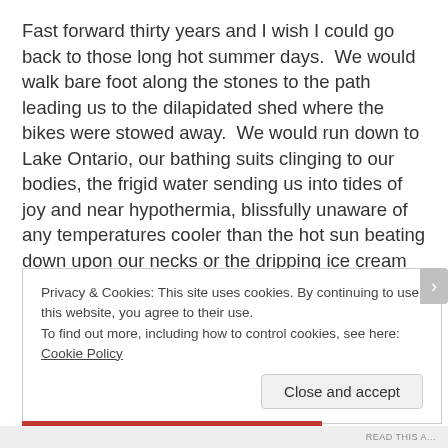Fast forward thirty years and I wish I could go back to those long hot summer days.  We would walk bare foot along the stones to the path leading us to the dilapidated shed where the bikes were stowed away.  We would run down to Lake Ontario, our bathing suits clinging to our bodies, the frigid water sending us into tides of joy and near hypothermia, blissfully unaware of any temperatures cooler than the hot sun beating down upon our necks or the dripping ice cream cones we slurped in an afternoon meant for laundry.  I remember being embarrassed that I had been stripped
Privacy & Cookies: This site uses cookies. By continuing to use this website, you agree to their use.
To find out more, including how to control cookies, see here: Cookie Policy
Close and accept